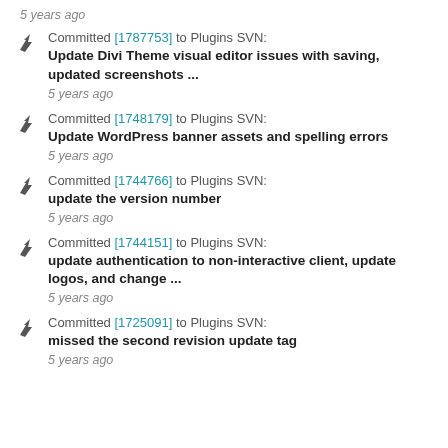5 years ago
Committed [1787753] to Plugins SVN: Update Divi Theme visual editor issues with saving, updated screenshots ... 5 years ago
Committed [1748179] to Plugins SVN: Update WordPress banner assets and spelling errors 5 years ago
Committed [1744766] to Plugins SVN: update the version number 5 years ago
Committed [1744151] to Plugins SVN: update authentication to non-interactive client, update logos, and change ... 5 years ago
Committed [1725091] to Plugins SVN: missed the second revision update tag 5 years ago